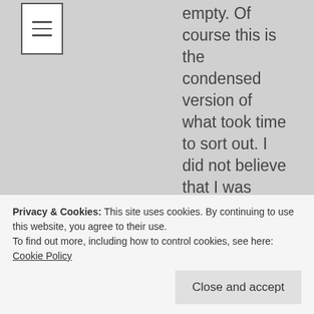[Figure (other): Hamburger menu icon (three horizontal lines in a rectangle)]
empty. Of course this is the condensed version of what took time to sort out. I did not believe that I was pretty, intelligent, funny or successful. I believed it was a false construct of what everyone wanted to see. I just gave people what they wanted. This was mirroring back what they were. I knew people liked people who had the same likes and dislikes and I knew that people liked compliments and praise. It was after studying religion and having a baby that I really started to see that I didn't have to act like that. I really started to think that I may be able
Privacy & Cookies: This site uses cookies. By continuing to use this website, you agree to their use. To find out more, including how to control cookies, see here: Cookie Policy
Close and accept